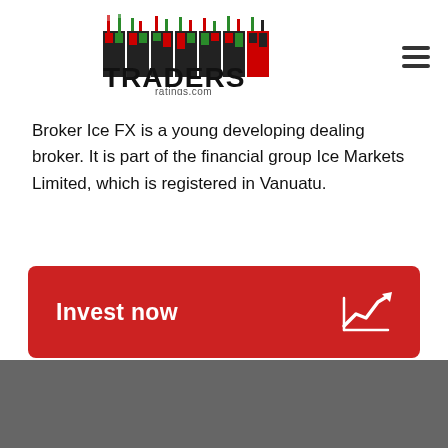[Figure (logo): TradersRatings.com logo with candlestick chart graphics and bold text]
Broker Ice FX is a young developing dealing broker. It is part of the financial group Ice Markets Limited, which is registered in Vanuatu.
[Figure (infographic): Red button with white bold text 'Invest now' and a white upward trending chart/arrow icon on the right]
[Figure (other): Dark gray footer bar at the bottom of the page]